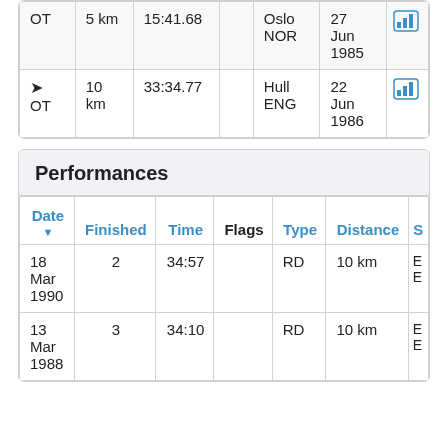|  | Distance | Time |  | Location | Date |  |
| --- | --- | --- | --- | --- | --- | --- |
| OT | 5 km | 15:41.68 |  | Oslo NOR | 27 Jun 1985 | [chart] |
| ➤ OT | 10 km | 33:34.77 |  | Hull ENG | 22 Jun 1986 | [chart] |
Performances
| Date ▼ | Finished | Time | Flags | Type | Distance | S |
| --- | --- | --- | --- | --- | --- | --- |
| 18 Mar 1990 | 2 | 34:57 |  | RD | 10 km | E E |
| 13 Mar 1988 | 3 | 34:10 |  | RD | 10 km | E E |